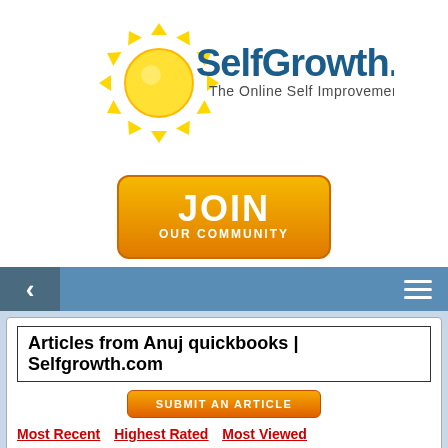[Figure (logo): SelfGrowth.com logo with sun rays and tagline 'The Online Self Improvement Community']
[Figure (infographic): Orange 'JOIN OUR COMMUNITY' button]
[Figure (infographic): Navigation bar with back arrow and hamburger menu on blue background]
Articles from Anuj quickbooks | Selfgrowth.com
[Figure (infographic): Orange 'SUBMIT AN ARTICLE' button]
Most Recent   Highest Rated   Most Viewed
QuickBooks Premier support Number 1855-915-2082 ♛♛ Phone Number Pro - by Scott Cook
Submitted on Jul 08, 2021 from Anuj quickbooks
QuickBooks Premier support Number 1855-915-2082 ♛ ♛ Phone Number Pro How To Contact QuickBooks premier Support Number? When it comes to the most powerful QuickBooks product from Intuit